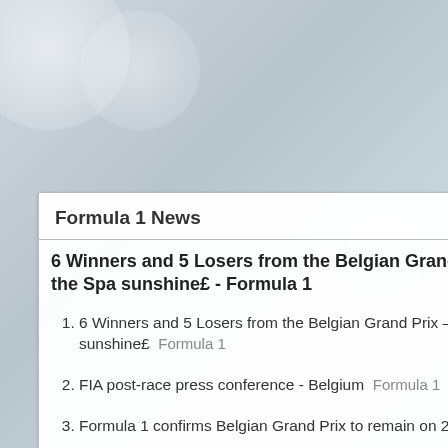Formula 1 News
6 Winners and 5 Losers from the Belgian Grand Prix – Who shone in the Spa sunshine£ - Formula 1
6 Winners and 5 Losers from the Belgian Grand Prix – Who shone in the Spa sunshine£  Formula 1
FIA post-race press conference - Belgium  Formula 1
Formula 1 confirms Belgian Grand Prix to remain on 2023 calendar  Sky Sports
Formula 1 extends Belgium Grand Prix contract to 2023  F1i.com
2014 F1 Steering
Infiniti Red Bull
The Mercedes P
Daniel Ricciardo
Jorge Lorenzo V